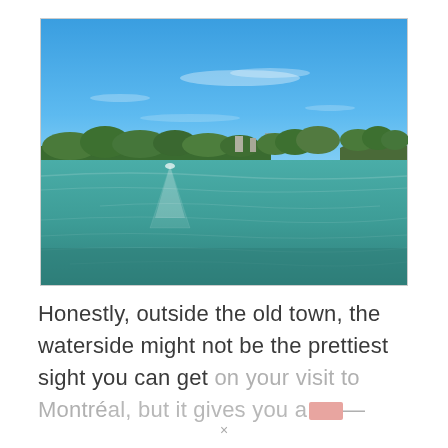[Figure (photo): A wide river or lake scene under a bright blue sky with a few wispy clouds. The far shoreline is lined with green trees and some structures visible in the distance. The water is a teal-green color with gentle ripples and wake patterns. A small landmass or island juts out on the right side.]
Honestly, outside the old town, the waterside might not be the prettiest sight you can get on your visit to Montréal, but it gives you a...